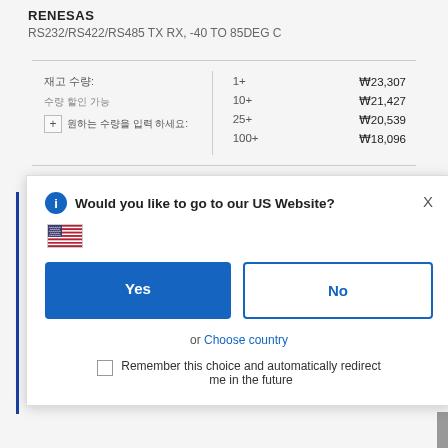RENESAS
RS232/RS422/RS485 TX RX, -40 TO 85DEG C
| Qty | Price |
| --- | --- |
| 1+ | ₩23,307 |
| 10+ | ₩21,427 |
| 25+ | ₩20,539 |
| 100+ | ₩18,096 |
[Figure (screenshot): Modal dialog asking 'Would you like to go to our US Website?' with Yes and No buttons, US flag, 'or Choose country' link, and 'Remember this choice and automatically redirect me in the future' checkbox]